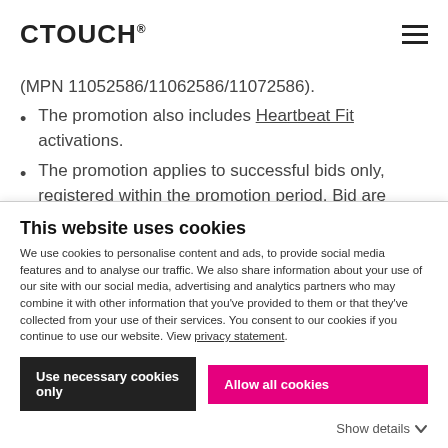CTOUCH
(MPN 11052586/11062586/11072586).
The promotion also includes Heartbeat Fit activations.
The promotion applies to successful bids only, registered within the promotion period. Bid are registered using our online Bid Registration Portal.
This website uses cookies
We use cookies to personalise content and ads, to provide social media features and to analyse our traffic. We also share information about your use of our site with our social media, advertising and analytics partners who may combine it with other information that you've provided to them or that they've collected from your use of their services. You consent to our cookies if you continue to use our website. View privacy statement.
Use necessary cookies only
Allow all cookies
Show details